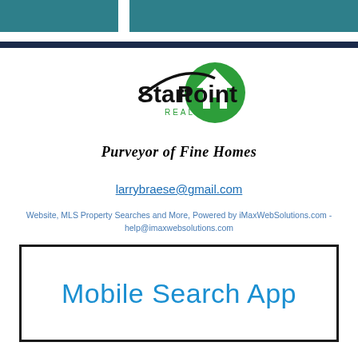[Figure (logo): StartPoint Realty logo with green house icon and black text, tagline 'Purveyor of Fine Homes' in bold italic serif]
larrybraese@gmail.com
Website, MLS Property Searches and More, Powered by iMaxWebSolutions.com - help@imaxwebsolutions.com
Mobile Search App